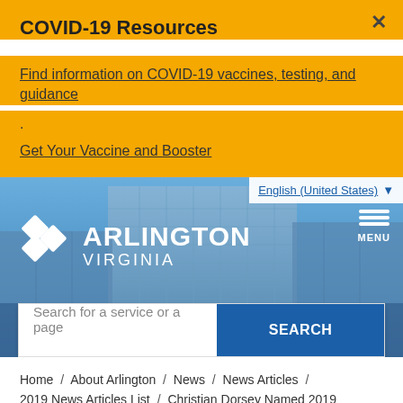COVID-19 Resources
Find information on COVID-19 vaccines, testing, and guidance
.
Get Your Vaccine and Booster
[Figure (screenshot): Arlington Virginia government website header with blue background showing a tall glass office building, Arlington Virginia logo with diamond chevron icon, hamburger menu button, language selector showing English (United States), and a search bar with 'Search for a service or a page' placeholder and blue SEARCH button]
Home / About Arlington / News / News Articles / 2019 News Articles List / Christian Dorsey Named 2019